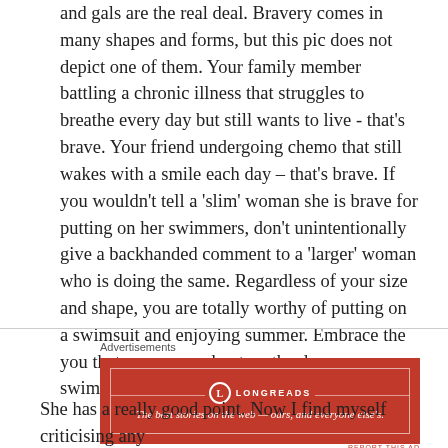and gals are the real deal. Bravery comes in many shapes and forms, but this pic does not depict one of them. Your family member battling a chronic illness that struggles to breathe every day but still wants to live - that's brave. Your friend undergoing chemo that still wakes with a smile each day – that's brave. If you wouldn't tell a 'slim' woman she is brave for putting on her swimmers, don't unintentionally give a backhanded comment to a 'larger' woman who is doing the same. Regardless of your size and shape, you are totally worthy of putting on a swimsuit and enjoying summer. Embrace the you that you are, and put on the damn swimmers. I won't
Advertisements
[Figure (other): Longreads advertisement banner. Red background with white border. Logo: circle with L, text LONGREADS. Tagline: The best stories on the web — ours, and everyone else's.]
REPORT THIS AD
She has a really good point. Now I find myself criticising any